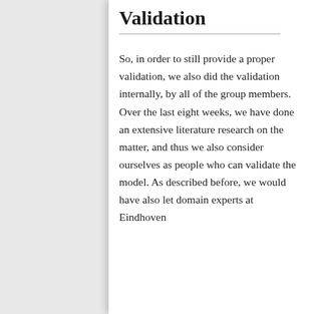Validation
So, in order to still provide a proper validation, we also did the validation internally, by all of the group members. Over the last eight weeks, we have done an extensive literature research on the matter, and thus we also consider ourselves as people who can validate the model. As described before, we would have also let domain experts at Eindhoven